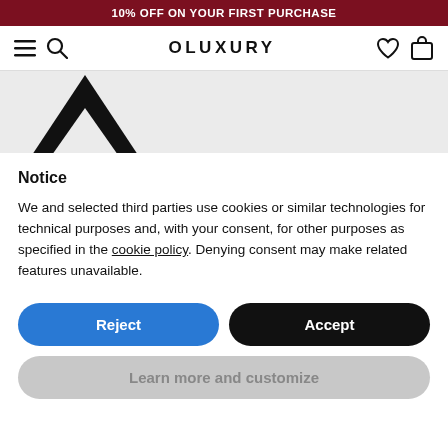10% OFF ON YOUR FIRST PURCHASE
[Figure (logo): OLUXURY brand logo with hamburger menu, search icon, heart icon, and shopping bag icon in navigation bar]
[Figure (logo): Partial black geometric mountain/triangle logo mark visible against light grey background]
Notice
We and selected third parties use cookies or similar technologies for technical purposes and, with your consent, for other purposes as specified in the cookie policy. Denying consent may make related features unavailable.
Reject
Accept
Learn more and customize